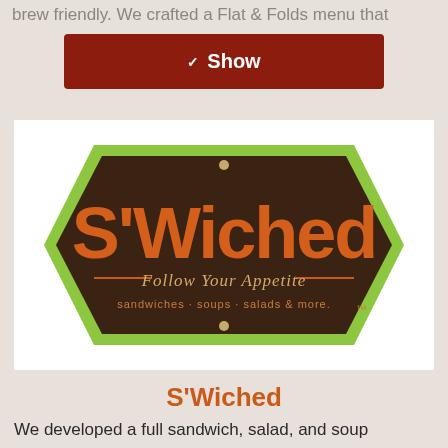brew friendly. We crafted a Flat & Folds menu that
[Figure (logo): S'Wiched logo: dark brown hexagonal badge with lime green border, orange text 'S'Wiched', tagline 'Follow Your Appetite', subtext 'sandwiches · soups · salads & more.' with TM mark]
S'Wiched
We developed a full sandwich, salad, and soup